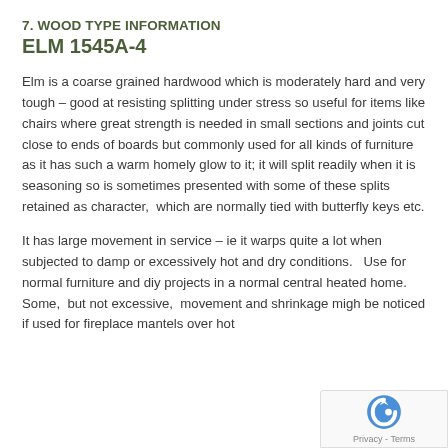7. WOOD TYPE INFORMATION
ELM 1545A-4
Elm is a coarse grained hardwood which is moderately hard and very tough – good at resisting splitting under stress so useful for items like chairs where great strength is needed in small sections and joints cut close to ends of boards but commonly used for all kinds of furniture as it has such a warm homely glow to it; it will split readily when it is seasoning so is sometimes presented with some of these splits retained as character,  which are normally tied with butterfly keys etc.
It has large movement in service – ie it warps quite a lot when subjected to damp or excessively hot and dry conditions.   Use for normal furniture and diy projects in a normal central heated home.  Some,  but not excessive,  movement and shrinkage might be noticed if used for fireplace mantels over hot